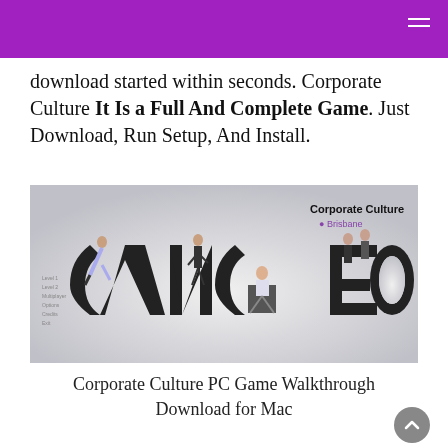download started within seconds. Corporate Culture It Is a Full And Complete Game. Just Download, Run Setup, And Install.
[Figure (photo): 3D figurines of office workers arranged around the letters spelling CANCO CEO, with 'Corporate Culture' and 'Brisbane' text in upper right corner. Gray background.]
Corporate Culture PC Game Walkthrough Download for Mac